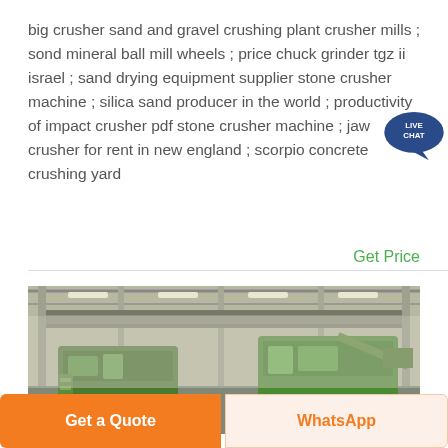big crusher sand and gravel crushing plant crusher mills ; sond mineral ball mill wheels ; price chuck grinder tgz ii israel ; sand drying equipment supplier stone crusher machine ; silica sand producer in the world ; productivity of impact crusher pdf stone crusher machine ; jaw crusher for rent in new england ; scorpio concrete crushing yard
Get Price
[Figure (photo): Interior of a large industrial factory/warehouse with overhead cranes and green heavy machinery (crusher equipment) on the floor, showing steel roof trusses and fluorescent lighting.]
Get a Quote
WhatsApp